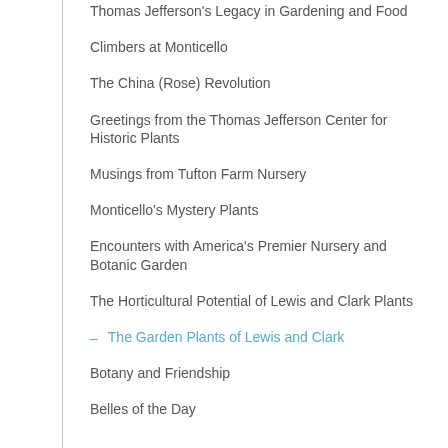Thomas Jefferson's Legacy in Gardening and Food
Climbers at Monticello
The China (Rose) Revolution
Greetings from the Thomas Jefferson Center for Historic Plants
Musings from Tufton Farm Nursery
Monticello's Mystery Plants
Encounters with America's Premier Nursery and Botanic Garden
The Horticultural Potential of Lewis and Clark Plants
The Garden Plants of Lewis and Clark
Botany and Friendship
Belles of the Day